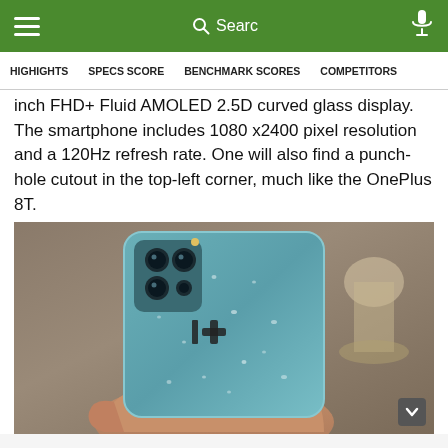≡  Search  🎤
HIGHIGHTS   SPECS SCORE   BENCHMARK SCORES   COMPETITORS
inch FHD+ Fluid AMOLED 2.5D curved glass display. The smartphone includes 1080 x2400 pixel resolution and a 120Hz refresh rate. One will also find a punch-hole cutout in the top-left corner, much like the OnePlus 8T.
[Figure (photo): A hand holding a blue OnePlus smartphone (OnePlus 9R or similar) from the back, showing the quad-camera module in the top-left corner and the OnePlus logo in the center. The phone has water droplets on its matte blue back cover.]